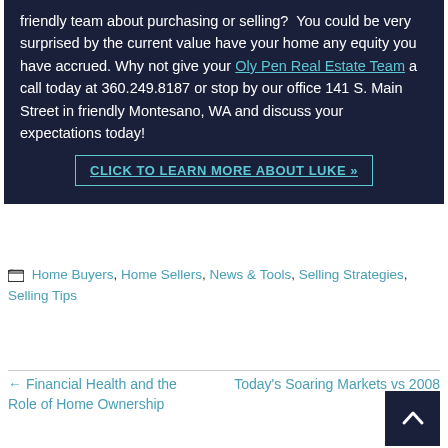friendly team about purchasing or selling?  You could be very surprised by the current value have your home any equity you have accrued. Why not give your Oly Pen Real Estate Team a call today at 360.249.8187 or stop by our office 141 S. Main Street in friendly Montesano, WA and discuss your expectations today!
CLICK TO LEARN MORE ABOUT LUKE »
Home Buyers, Home Sellers, News & Tools, Selling Strategies, Selling Tips
← Financial Health and the Role of Home Ownership
Today's Soaring Markets vs 2008 →